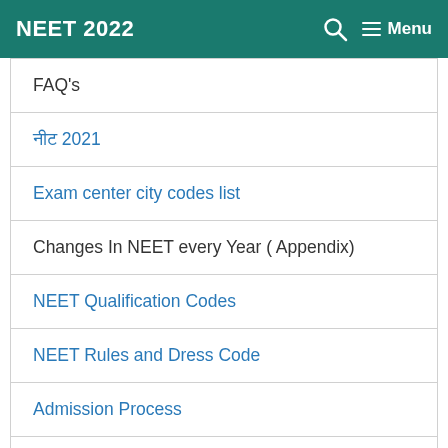NEET 2022   🔍   ☰ Menu
FAQ's
नीट 2021
Exam center city codes list
Changes In NEET every Year ( Appendix)
NEET Qualification Codes
NEET Rules and Dress Code
Admission Process
BEST Andriod app for preparation